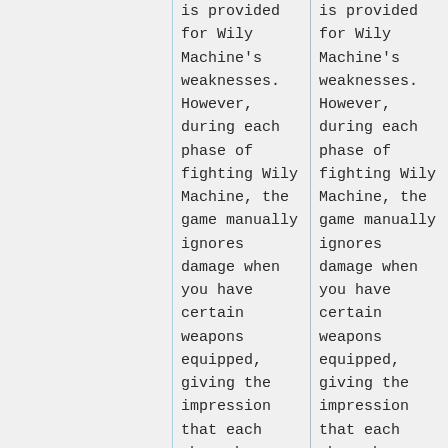is provided for Wily Machine's weaknesses. However, during each phase of fighting Wily Machine, the game manually ignores damage when you have certain weapons equipped, giving the impression that each phase has
is provided for Wily Machine's weaknesses. However, during each phase of fighting Wily Machine, the game manually ignores damage when you have certain weapons equipped, giving the impression that each phase has